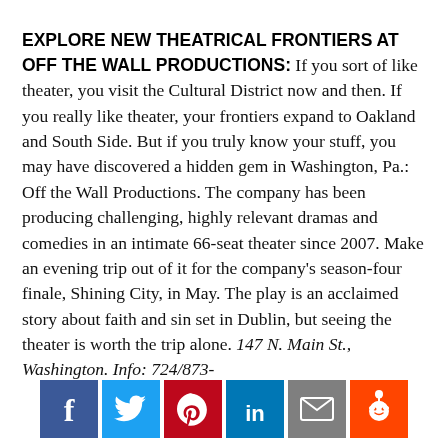EXPLORE NEW THEATRICAL FRONTIERS AT OFF THE WALL PRODUCTIONS: If you sort of like theater, you visit the Cultural District now and then. If you really like theater, your frontiers expand to Oakland and South Side. But if you truly know your stuff, you may have discovered a hidden gem in Washington, Pa.: Off the Wall Productions. The company has been producing challenging, highly relevant dramas and comedies in an intimate 66-seat theater since 2007. Make an evening trip out of it for the company's season-four finale, Shining City, in May. The play is an acclaimed story about faith and sin set in Dublin, but seeing the theater is worth the trip alone. 147 N. Main St., Washington. Info: 724/873-
[Figure (infographic): Social media sharing buttons: Facebook (blue), Twitter (cyan), Pinterest (red), LinkedIn (blue), Email (gray), Reddit (orange)]